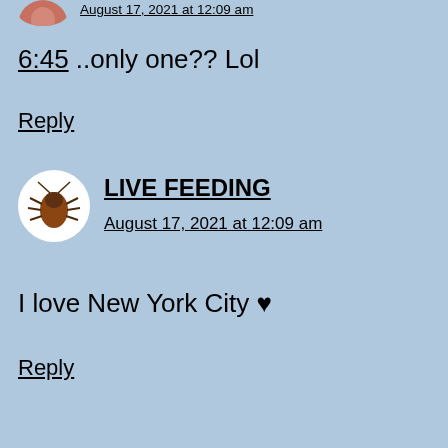[Figure (photo): Partial avatar image of a user, cropped at top]
August 17, 2021 at 12:09 am
6:45 ..only one?? Lol
Reply
[Figure (photo): Circular avatar showing a cockroach/bug on white background]
LIVE FEEDING
August 17, 2021 at 12:09 am
I love New York City ♥
Reply